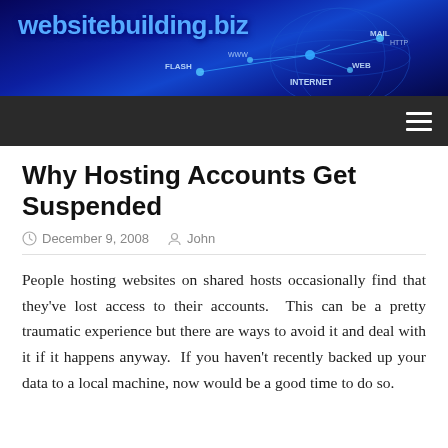[Figure (illustration): Website banner for websitebuilding.biz with blue digital/internet themed background showing connected nodes with labels FLASH, MAIL, HTTP, WWW, INTERNET, WEB, and a globe/map silhouette]
websitebuilding.biz
Why Hosting Accounts Get Suspended
December 9, 2008   John
People hosting websites on shared hosts occasionally find that they've lost access to their accounts.  This can be a pretty traumatic experience but there are ways to avoid it and deal with it if it happens anyway.  If you haven't recently backed up your data to a local machine, now would be a good time to do so.